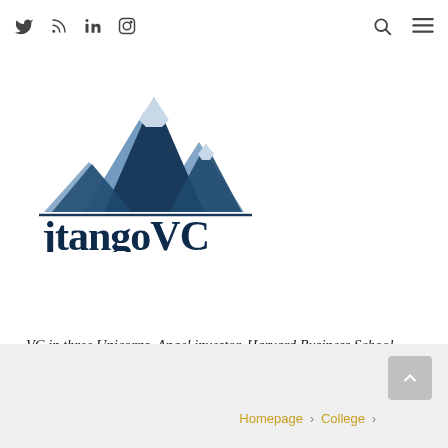Twitter RSS LinkedIn Instagram [Search] [Menu]
[Figure (logo): jtangoVC logo: blue mountain peaks illustration above the text 'jtangoVC' in dark navy serif font]
VC in three Unicorns. Angel investor. Harvard Business School Lecturer. Obsessed with fly fishing and a recovering ENTJ.
Homepage > College